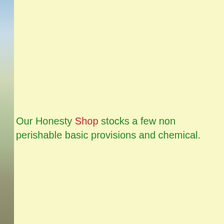Our Honesty Shop stocks a few non perishable basic provisions and chemical.